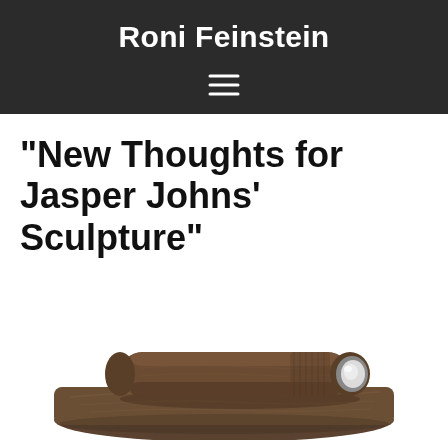Roni Feinstein
“New Thoughts for Jasper Johns’ Sculpture”
[Figure (photo): Sculpture of a flashlight resting on a wooden plank-like base, both rendered in a dark brownish-grey material resembling wood or bronze, with a white lens visible on the flashlight end.]